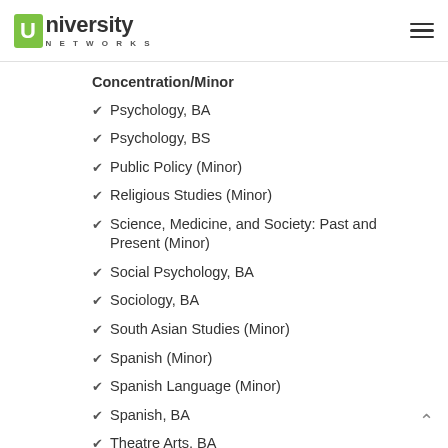University Networks
Concentration/Minor
Psychology, BA
Psychology, BS
Public Policy (Minor)
Religious Studies (Minor)
Science, Medicine, and Society: Past and Present (Minor)
Social Psychology, BA
Sociology, BA
South Asian Studies (Minor)
Spanish (Minor)
Spanish Language (Minor)
Spanish, BA
Theatre Arts, BA